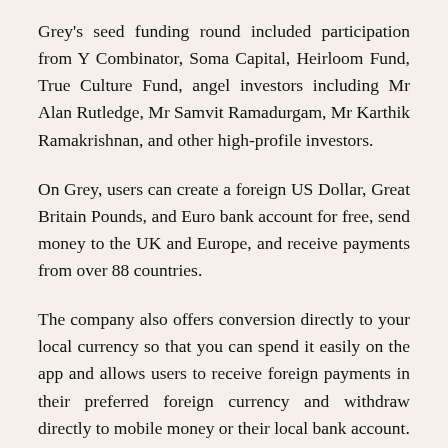Grey's seed funding round included participation from Y Combinator, Soma Capital, Heirloom Fund, True Culture Fund, angel investors including Mr Alan Rutledge, Mr Samvit Ramadurgam, Mr Karthik Ramakrishnan, and other high-profile investors.
On Grey, users can create a foreign US Dollar, Great Britain Pounds, and Euro bank account for free, send money to the UK and Europe, and receive payments from over 88 countries.
The company also offers conversion directly to your local currency so that you can spend it easily on the app and allows users to receive foreign payments in their preferred foreign currency and withdraw directly to mobile money or their local bank account.
In addition to the funding announcement, Grey also announced its expansion into East Africa, starting with